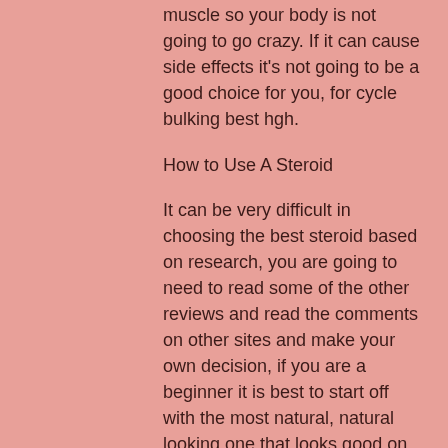muscle so your body is not going to go crazy. If it can cause side effects it's not going to be a good choice for you, for cycle bulking best hgh.
How to Use A Steroid
It can be very difficult in choosing the best steroid based on research, you are going to need to read some of the other reviews and read the comments on other sites and make your own decision, if you are a beginner it is best to start off with the most natural, natural looking one that looks good on your body.
Best hgh cycle for bulking
It can really bulk you up, though you will need to work hard during the cutting cycle to get rid of the water you retain during the bulking cycle, best anabolic steroid cycle for